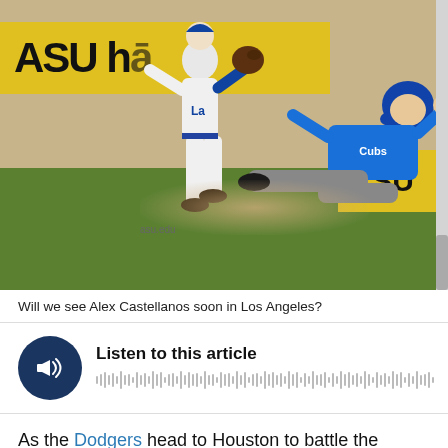[Figure (photo): Baseball action photo: A Dodgers player in white uniform jumps above second base while a Cubs player in blue slides in with a cloud of dust. An ASU advertisement banner is visible in the background.]
Will we see Alex Castellanos soon in Los Angeles?
[Figure (other): Audio player widget with dark blue circular play button and sound waveform visualization, labeled 'Listen to this article']
As the Dodgers head to Houston to battle the Astros, Juan Uribe's left wrist is the big concern. The Dodgers